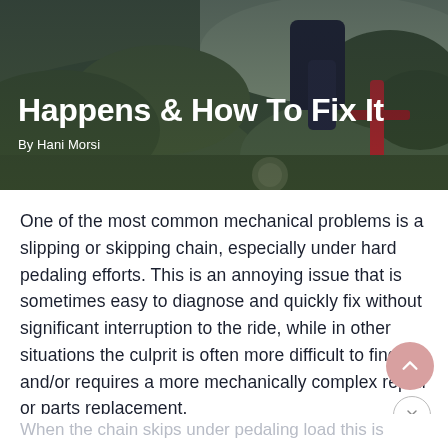[Figure (photo): Background photo of a cyclist/mountain biker with dark green/forest background, partially visible legs and bicycle handlebars]
Happens & How To Fix It
By Hani Morsi
One of the most common mechanical problems is a slipping or skipping chain, especially under hard pedaling efforts. This is an annoying issue that is sometimes easy to diagnose and quickly fix without significant interruption to the ride, while in other situations the culprit is often more difficult to find and/or requires a more mechanically complex repair or parts replacement.
When the chain skips under pedaling load this is